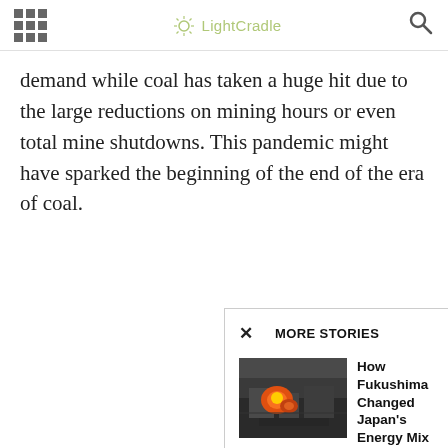LightCradle
demand while coal has taken a huge hit due to the large reductions on mining hours or even total mine shutdowns. This pandemic might have sparked the beginning of the end of the era of coal.
MORE STORIES
[Figure (photo): Aerial view of an industrial facility with fire and explosion, likely depicting the Fukushima disaster or similar industrial accident]
How Fukushima Changed Japan's Energy Mix
ENERGY